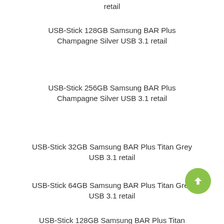retail
USB-Stick 128GB Samsung BAR Plus Champagne Silver USB 3.1 retail
USB-Stick 256GB Samsung BAR Plus Champagne Silver USB 3.1 retail
USB-Stick 32GB Samsung BAR Plus Titan Grey USB 3.1 retail
USB-Stick 64GB Samsung BAR Plus Titan Grey USB 3.1 retail
USB-Stick 128GB Samsung BAR Plus Titan Grey USB 3.1 retail